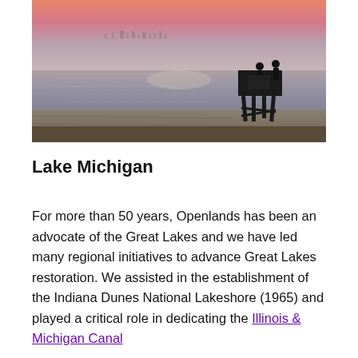[Figure (photo): Sunset over Lake Michigan beach scene with a lifeguard tower silhouetted against the water and sky, city skyline faintly visible on the horizon.]
Lake Michigan
For more than 50 years, Openlands has been an advocate of the Great Lakes and we have led many regional initiatives to advance Great Lakes restoration. We assisted in the establishment of the Indiana Dunes National Lakeshore (1965) and played a critical role in dedicating the Illinois & Michigan Canal